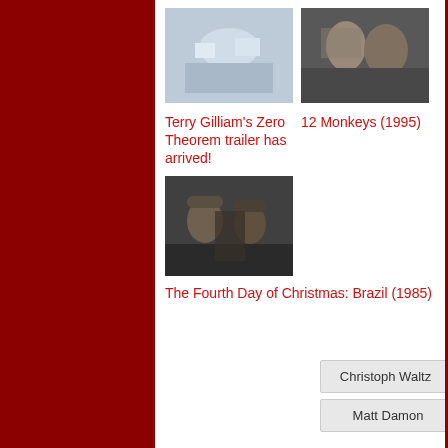[Figure (photo): Movie still from Zero Theorem - futuristic scene]
[Figure (photo): Movie still from 12 Monkeys (1995) - two men talking]
Terry Gilliam's Zero Theorem trailer has arrived!
12 Monkeys (1995)
[Figure (photo): Movie still from Brazil (1985) - men in hats]
The Fourth Day of Christmas: Brazil (1985)
Christoph Waltz
Lucas Hedges
Matt Damon
Mélanie Thierry